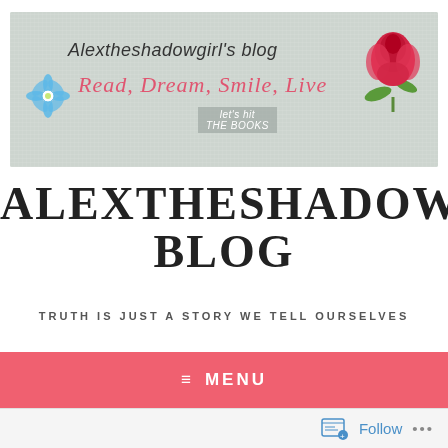[Figure (illustration): Blog banner image with light gray linen texture background. Features a blue daisy flower on the left, a red rose in the top right corner, hand-lettered text 'Alextheshadowgirl's blog' in dark ink, cursive red text 'Read, Dream, Smile, Live', and a small gray label 'let's hit THE BOOKS'.]
ALEXTHESHADOWGIRL BLOG
TRUTH IS JUST A STORY WE TELL OURSELVES
≡  MENU
Follow  •••